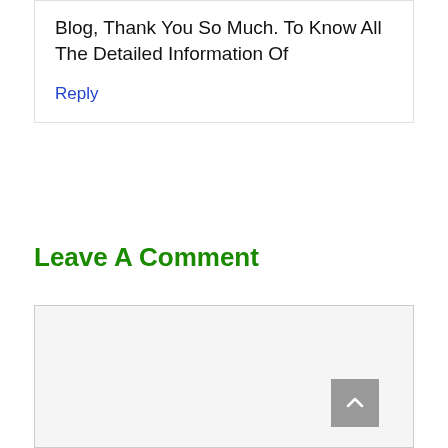Blog, Thank You So Much. To Know All The Detailed Information Of
Reply
Leave A Comment
[Figure (other): Comment text area input box with light gray background and a scroll-to-top button in the bottom right corner]